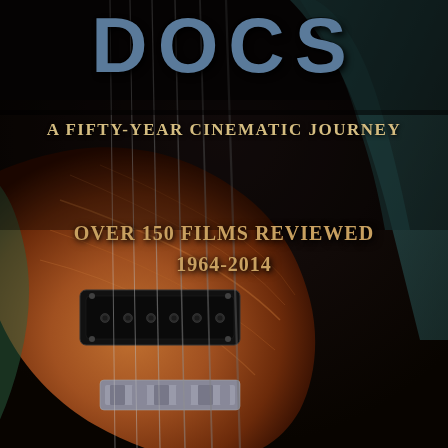[Figure (photo): Book cover featuring a close-up photograph of an electric guitar body (warm brown/sunburst finish) with strings, pickup, and bridge visible, against a dark background with teal/green decorative elements]
DOCS
A FIFTY-YEAR CINEMATIC JOURNEY
OVER 150 FILMS REVIEWED 1964-2014